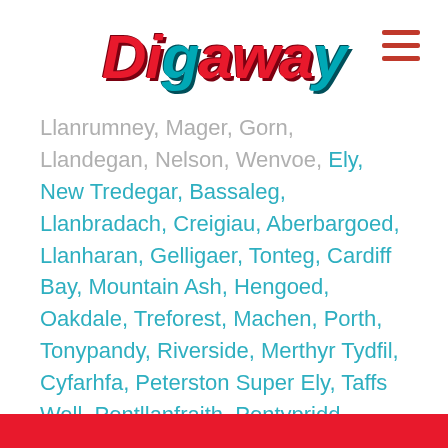Digaway
Llanrumney, Mager, Gorn, Llandegan, Nelson, Wenvoe, Ely, New Tredegar, Bassaleg, Llanbradach, Creigiau, Aberbargoed, Llanharan, Gelligaer, Tonteg, Cardiff Bay, Mountain Ash, Hengoed, Oakdale, Treforest, Machen, Porth, Tonypandy, Riverside, Merthyr Tydfil, Cyfarhfa, Peterston Super Ely, Taffs Well, Pontllanfraith, Pontypridd, Pentre, Rhymney, Risca, Splott, Adamstown, Llantrisant, Abertillery, Cwmbach, Penarth, Cyncoed, Saint Fagans, Marshfield, Maesycwmmer, Brynmawr, Trelewis, Bargoed, Talbot Green, Wyllie, Llanharry, Radyr, Thornhill, Llandaff, Cathays, Saint Mellons, Roath, Danescourt, Treharris, Rhiwbina, Rumney, Treorchy, Ebbw Vale, Canton, Grangetown, Penderyn, Llanishen, Pant, Caerphilly, Cardiff, Ystrad, Nantgarw, Fairwater, Ferndale, Aberaman, Cefn Hengoed, Bedwas, Near, Pentrebach, Aberdare,